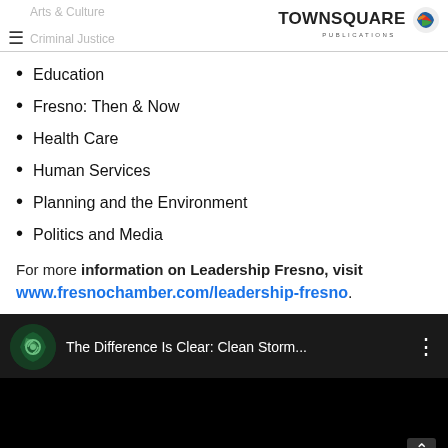Arts & Culture | Criminal Justice | TownSquare Publications
Education
Fresno: Then & Now
Health Care
Human Services
Planning and the Environment
Politics and Media
For more information on Leadership Fresno, visit www.fresnochamber.com/leadership-fresno.
[Figure (screenshot): YouTube video thumbnail with title 'The Difference Is Clear: Clean Storm...' and a green circular logo icon on black background]